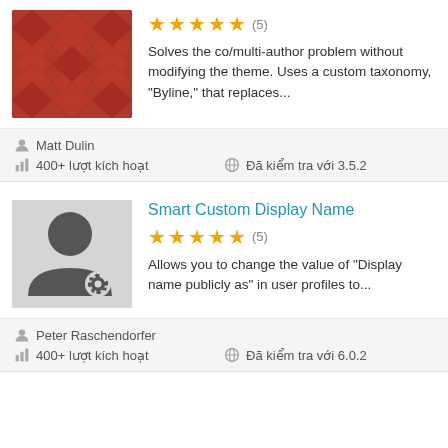[Figure (illustration): Red/maroon diamond harlequin pattern plugin icon for first card]
★★★★★ (5)
Solves the co/multi-author problem without modifying the theme. Uses a custom taxonomy, "Byline," that replaces...
Matt Dulin
400+ lượt kích hoạt
Đã kiểm tra với 3.5.2
Smart Custom Display Name
★★★★★ (5)
Allows you to change the value of "Display name publicly as" in user profiles to...
[Figure (illustration): Gray background with dark gray user/person icon with gear/settings cog badge, plugin icon for second card]
Peter Raschendorfer
400+ lượt kích hoạt
Đã kiểm tra với 6.0.2